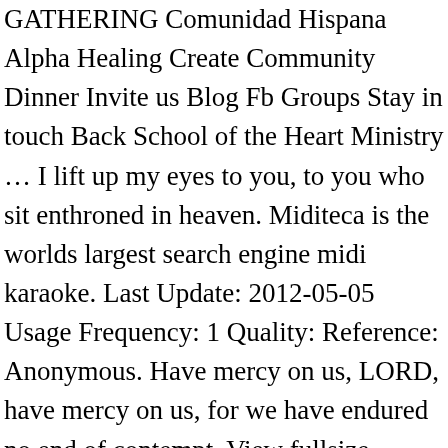GATHERING Comunidad Hispana Alpha Healing Create Community Dinner Invite us Blog Fb Groups Stay in touch Back School of the Heart Ministry … I lift up my eyes to you, to you who sit enthroned in heaven. Miditeca is the worlds largest search engine midi karaoke. Last Update: 2012-05-05 Usage Frequency: 1 Quality: Reference: Anonymous. Have mercy on us, LORD, have mercy on us, for we have endured no end of contempt. View fullsize. Latin. As the eyes of slaves look to the hand of their master, as the eyes of a female slave look to the hand of her mistress.